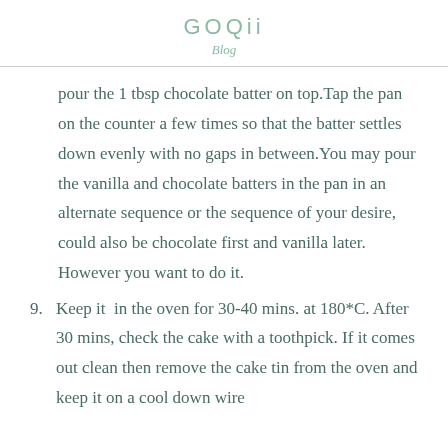GOQii
Blog
pour the 1 tbsp chocolate batter on top.Tap the pan on the counter a few times so that the batter settles down evenly with no gaps in between.You may pour the vanilla and chocolate batters in the pan in an alternate sequence or the sequence of your desire, could also be chocolate first and vanilla later. However you want to do it.
9. Keep it  in the oven for 30-40 mins. at 180*C. After 30 mins, check the cake with a toothpick. If it comes out clean then remove the cake tin from the oven and keep it on a cool down wire